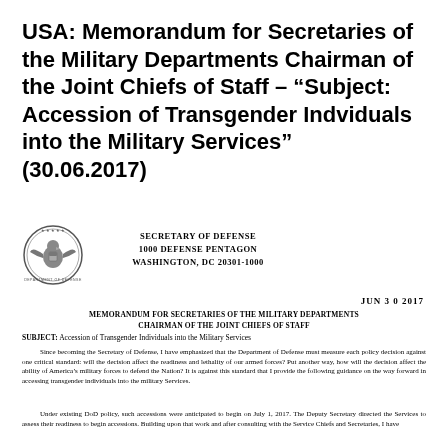USA: Memorandum for Secretaries of the Military Departments Chairman of the Joint Chiefs of Staff – “Subject: Accession of Transgender Indviduals into the Military Services” (30.06.2017)
[Figure (logo): Seal of the Secretary of Defense (Department of Defense circular seal with eagle)]
SECRETARY OF DEFENSE
1000 DEFENSE PENTAGON
WASHINGTON, DC 20301-1000
JUN 3 0 2017
MEMORANDUM FOR SECRETARIES OF THE MILITARY DEPARTMENTS
CHAIRMAN OF THE JOINT CHIEFS OF STAFF
SUBJECT:  Accession of Transgender Individuals into the Military Services
Since becoming the Secretary of Defense, I have emphasized that the Department of Defense must measure each policy decision against one critical standard:  will the decision affect the readiness and lethality of our armed forces?  Put another way, how will the decision affect the ability of America’s military forces to defend the Nation?  It is against this standard that I provide the following guidance on the way forward in accessing transgender individuals into the military Services.
Under existing DoD policy, such accessions were anticipated to begin on July 1, 2017. The Deputy Secretary directed the Services to assess their readiness to begin accessions. Building upon that work and after consulting with the Service Chiefs and Secretaries, I have